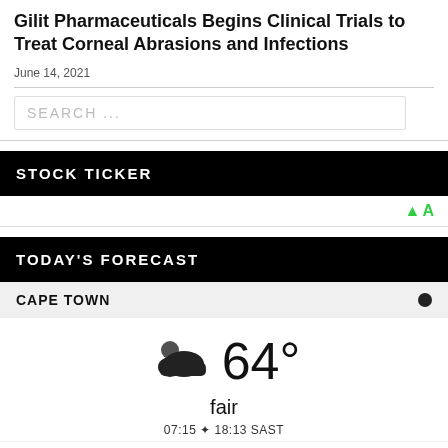Gilit Pharmaceuticals Begins Clinical Trials to Treat Corneal Abrasions and Infections
June 14, 2021
SEARCH ...
STOCK TICKER
↑ A
TODAY'S FORECAST
CAPE TOWN
[Figure (infographic): Weather icon showing partly cloudy with sun behind cloud, temperature 64°, condition fair, times 07:15 sunrise 18:13 SAST]
thu
fri
sat